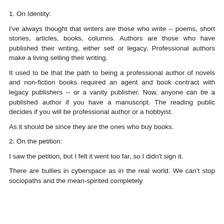1. On Identity:
I've always thought that writers are those who write -- poems, short stories, articles, books, columns. Authors are those who have published their writing, either self or legacy. Professional authors make a living selling their writing.
It used to be that the path to being a professional author of novels and non-fiction books required an agent and book contract with legacy publishers -- or a vanity publisher. Now, anyone can be a published author if you have a manuscript. The reading public decides if you will be professional author or a hobbyist.
As it should be since they are the ones who buy books.
2. On the petition:
I saw the petition, but I felt it went too far, so I didn't sign it.
There are bullies in cyberspace as in the real world. We can't stop sociopaths and the mean-spirited completely